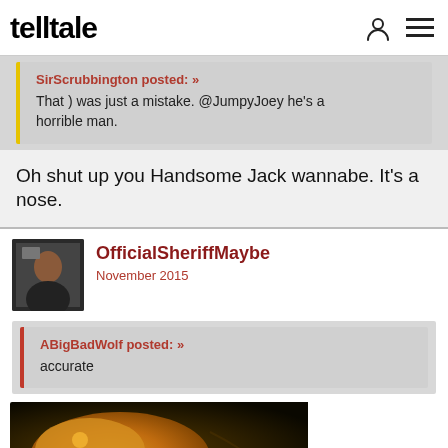telltale
SirScrubbington posted: »
That ) was just a mistake. @JumpyJoey he's a horrible man.
Oh shut up you Handsome Jack wannabe. It's a nose.
OfficialSheriffMaybe
November 2015
ABigBadWolf posted: »
accurate
[Figure (photo): Partial view of an orange/yellow creature (appears to be a fish or sea creature) against a dark background]